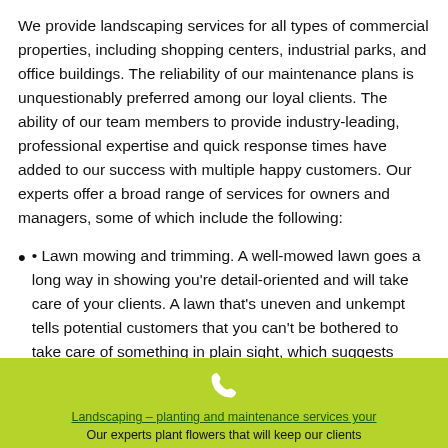We provide landscaping services for all types of commercial properties, including shopping centers, industrial parks, and office buildings. The reliability of our maintenance plans is unquestionably preferred among our loyal clients. The ability of our team members to provide industry-leading, professional expertise and quick response times have added to our success with multiple happy customers. Our experts offer a broad range of services for owners and managers, some of which include the following:
• Lawn mowing and trimming. A well-mowed lawn goes a long way in showing you're detail-oriented and will take care of your clients. A lawn that's uneven and unkempt tells potential customers that you can't be bothered to take care of something in plain sight, which suggests you're even less concerned with the finer details!
• Flowerbed planting and maintenance. Colorful flowers
Landscaping – planting and maintenance services your Our experts plant flowers that will keep our clients